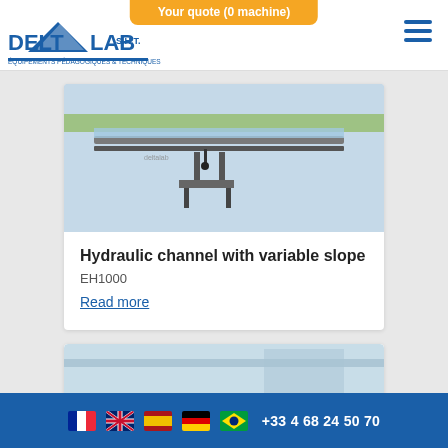Your quote (0 machine)
[Figure (logo): Deltalab logo with blue triangle and text 'DELTALAB S.H.T.' and subtitle 'ÉQUIPEMENTS PÉDAGOGIQUES & TECHNIQUES']
[Figure (photo): Photo of hydraulic channel with variable slope laboratory equipment]
Hydraulic channel with variable slope
EH1000
Read more
[Figure (photo): Partial view of second product image (blue/light colored equipment)]
+33 4 68 24 50 70